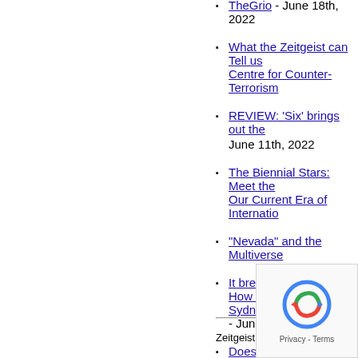TheGrio - June 18th, 2022
What the Zeitgeist can Tell us - Centre for Counter-Terrorism
REVIEW: 'Six' brings out the - June 11th, 2022
The Biennial Stars: Meet the - Our Current Era of Internatio...
"Nevada" and the Multiverse
It breaks your heart: How Ge... Sydney Morning Herald - Jun...
Does Tom Cruise represent t... Flicks - June 11th, 2022
Zeitgeist Moveme...